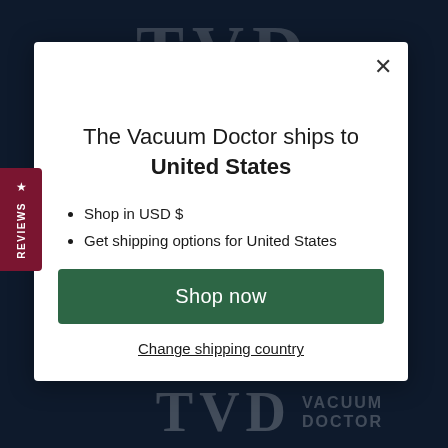[Figure (screenshot): Website screenshot background showing The Vacuum Doctor (TVD) website with dark navy header and watermark letters]
The Vacuum Doctor ships to United States
Shop in USD $
Get shipping options for United States
Shop now
Change shipping country